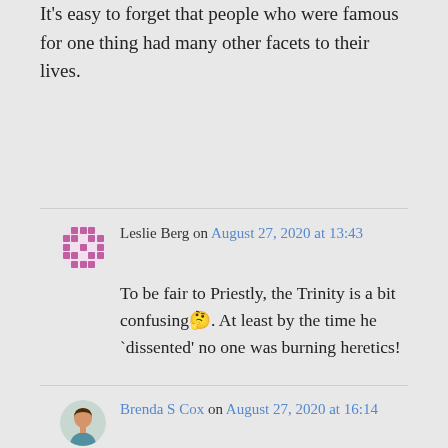It's easy to forget that people who were famous for one thing had many other facets to their lives.
Leslie Berg on August 27, 2020 at 13:43
To be fair to Priestly, the Trinity is a bit confusing🤔. At least by the time he `dissented' no one was burning heretics!
Brenda S Cox on August 27, 2020 at 16:14